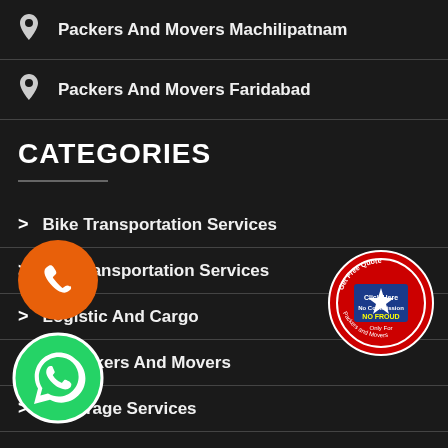Packers And Movers Machilipatnam
Packers And Movers Faridabad
CATEGORIES
Bike Transportation Services
Car Transportation Services
Logistic And Cargo
Packers And Movers
Storage Services
International Moving
[Figure (logo): Orange circular phone call button]
[Figure (logo): Green WhatsApp circular button with checkered background]
[Figure (logo): Circular badge: Get Free Quote, Click Here, No Commission, NO FROUD, Only For Packers and Movers]